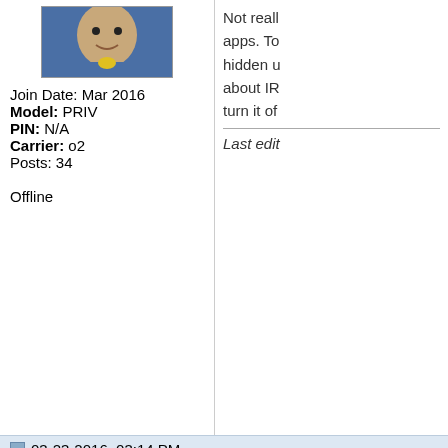[Figure (photo): Avatar image of a cartoon character with yellow collar on blue background]
Join Date: Mar 2016
Model: PRIV
PIN: N/A
Carrier: o2
Posts: 34

Offline
Not really... apps. To hidden u about IR turn it o
Last edit...
03-23-2016, 03:14 PM
knottyrope
BlackBerry Elite
[Figure (illustration): Knotty Rope logo text in rope style lettering]
Join Date: Jan 2008
Location: Massachusetts
Model: DT60
OS: 123456789
Re: B
how do y
I had to t
To lose i
But in th
It doesn'
Rocking